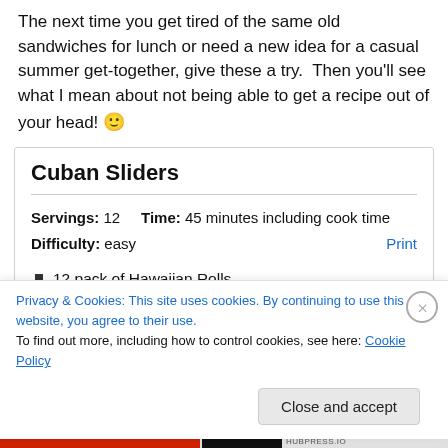The next time you get tired of the same old sandwiches for lunch or need a new idea for a casual summer get-together, give these a try.  Then you'll see what I mean about not being able to get a recipe out of your head! 🙂
Cuban Sliders
Servings: 12    Time: 45 minutes including cook time
Difficulty: easy    Print
12 pack of Hawaiian Rolls
Privacy & Cookies: This site uses cookies. By continuing to use this website, you agree to their use.
To find out more, including how to control cookies, see here: Cookie Policy
Close and accept